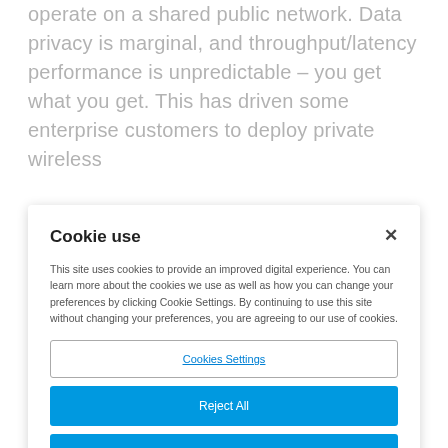operate on a shared public network. Data privacy is marginal, and throughput/latency performance is unpredictable – you get what you get. This has driven some enterprise customers to deploy private wireless
Cookie use
This site uses cookies to provide an improved digital experience. You can learn more about the cookies we use as well as how you can change your preferences by clicking Cookie Settings. By continuing to use this site without changing your preferences, you are agreeing to our use of cookies.
Cookies Settings
Reject All
Accept Cookies